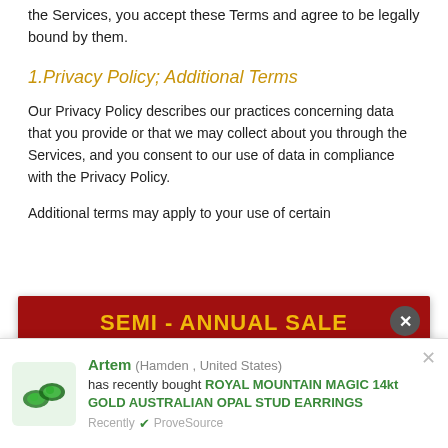the Services, you accept these Terms and agree to be legally bound by them.
1.Privacy Policy; Additional Terms
Our Privacy Policy describes our practices concerning data that you provide or that we may collect about you through the Services, and you consent to our use of data in compliance with the Privacy Policy.
Additional terms may apply to your use of certain
[Figure (other): Advertisement banner with dark red background. Text: 'SEMI - ANNUAL SALE' in yellow, 'Buy MORE, Save MORE' in white italic/regular, and 'BUY 1 | BUY 2 | BUY 3+' in white italic. Close button (x) in top right.]
[Figure (other): Notification popup: Artem (Hamden, United States) has recently bought ROYAL MOUNTAIN MAGIC 14kt GOLD AUSTRALIAN OPAL STUD EARRINGS. Recently verified by ProveSource. Shows product image of opal earrings.]